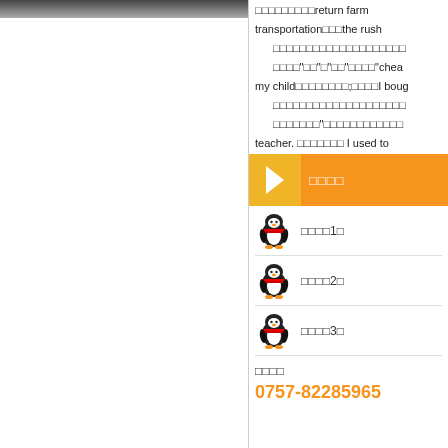[Figure (photo): Partial photo visible at top of left panel]
return farm...transportation...the rush...cheap...my child...;...I boug...teacher. ...I used to
联系我们
联系人1号
联系人2号
联系人3号
联系电话
0757-82285965